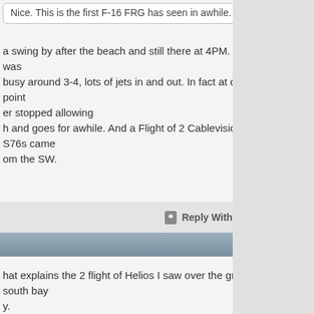Nice. This is the first F-16 FRG has seen in awhile.
a swing by after the beach and still there at 4PM. FRG was busy around 3-4, lots of jets in and out. In fact at one point er stopped allowing h and goes for awhile. And a Flight of 2 Cablevision S76s came om the SW.
Reply With Quote
#1657
hat explains the 2 flight of Helios I saw over the great south bay y.